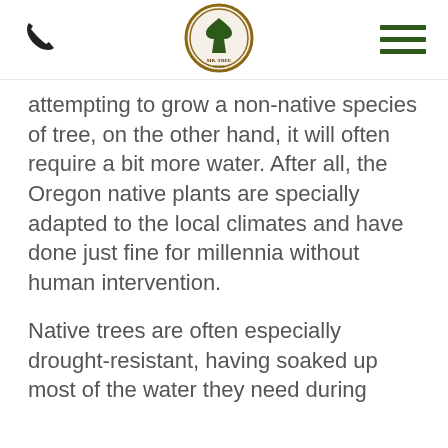[Mr. Tree logo, phone icon, hamburger menu]
attempting to grow a non-native species of tree, on the other hand, it will often require a bit more water. After all, the Oregon native plants are specially adapted to the local climates and have done just fine for millennia without human intervention.
Native trees are often especially drought-resistant, having soaked up most of the water they need during